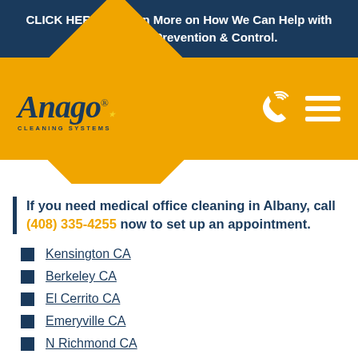CLICK HERE to Learn More on How We Can Help with Coronavirus Prevention & Control.
[Figure (logo): Anago Cleaning Systems logo with phone icon and hamburger menu on orange background with diamond chevron shape]
If you need medical office cleaning in Albany, call (408) 335-4255 now to set up an appointment.
Kensington CA
Berkeley CA
El Cerrito CA
Emeryville CA
N Richmond CA